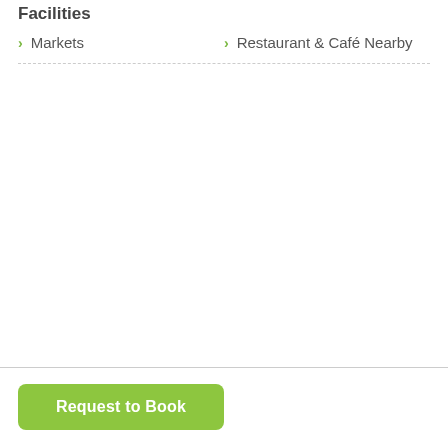Facilities
Markets
Restaurant & Café Nearby
Request to Book